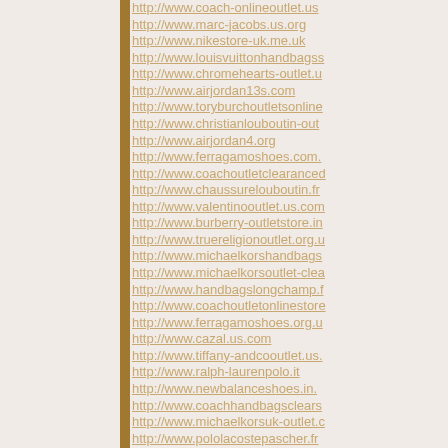http://www.coach-onlineoutlet.us
http://www.marc-jacobs.us.org
http://www.nikestore-uk.me.uk
http://www.louisvuittonhandbagss
http://www.chromehearts-outlet.u
http://www.airjordan13s.com
http://www.toryburchoutletsonline
http://www.christianlouboutin-out
http://www.airjordan4.org
http://www.ferragamoshoes.com.
http://www.coachoutletclearanced
http://www.chaussurelouboutin.fr
http://www.valentinooutlet.us.com
http://www.burberry-outletstore.in
http://www.truereligionoutlet.org.u
http://www.michaelkorshandbags
http://www.michaelkorsoutlet-clea
http://www.handbagslongchamp.f
http://www.coachoutletonlinestore
http://www.ferragamoshoes.org.u
http://www.cazal.us.com
http://www.tiffany-andcooutlet.us.
http://www.ralph-laurenpolo.it
http://www.newbalanceshoes.in.
http://www.coachhandbagsclears
http://www.michaelkorsuk-outlet.c
http://www.pololacostepascher.fr
http://www.canadagoose--jacket